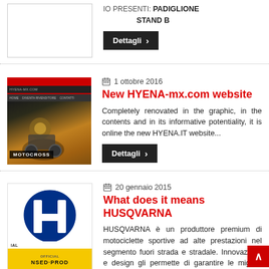[Figure (screenshot): Placeholder image box with PADIGLIONE and STAND B text]
IO PRESENTI: PADIGLIONE STAND B
Dettagli >
1 ottobre 2016
New HYENA-mx.com website
Completely renovated in the graphic, in the contents and in its informative potentiality, it is online the new HYENA.IT website...
Dettagli >
[Figure (screenshot): Motocross website screenshot with red header and motocross action photo]
20 gennaio 2015
What does it means HUSQVARNA
HUSQVARNA è un produttore premium di motociclette sportive ad alte prestazioni nel segmento fuori strada e stradale. Innovazione e design gli permette di garantire le migliori prestazioni. Per raggiungere gli obiettivi,
[Figure (logo): Husqvarna logo with blue H emblem and yellow bottom bar with OFFICIAL LICENSED PRODUCT text]